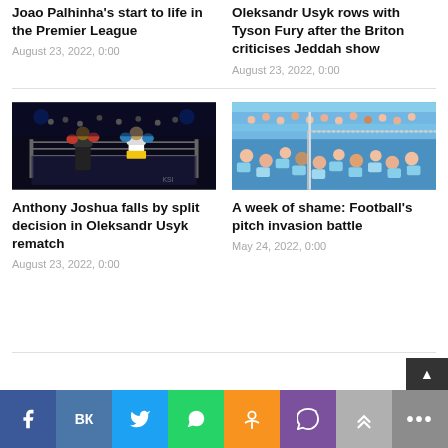Joao Palhinha's start to life in the Premier League
August 23, 2022, 0:00
Oleksandr Usyk rows with Tyson Fury after the Briton criticises Jeddah show
August 23, 2022, 0:00
[Figure (photo): Boxing match between Anthony Joshua and Oleksandr Usyk in the ring]
Anthony Joshua falls by split decision in Oleksandr Usyk rematch
August 23, 2022, 0:00
[Figure (photo): Football crowd scene with fans at a stadium, pitch invasion]
A week of shame: Football's pitch invasion battle
May 24, 2022, 0:00
Social share bar: Facebook, VK, Twitter, WhatsApp, Odnoklassniki, Viber, Up, More